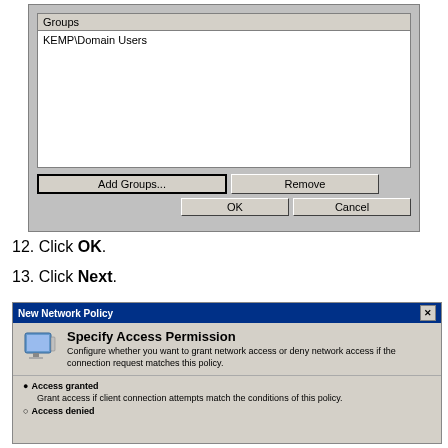[Figure (screenshot): Windows dialog showing a Groups listbox with 'KEMP\Domain Users' listed, and buttons: Add Groups..., Remove, OK, Cancel]
12. Click OK.
13. Click Next.
[Figure (screenshot): New Network Policy dialog showing 'Specify Access Permission' step with icon, description text, Access granted radio selected, Access denied radio below]